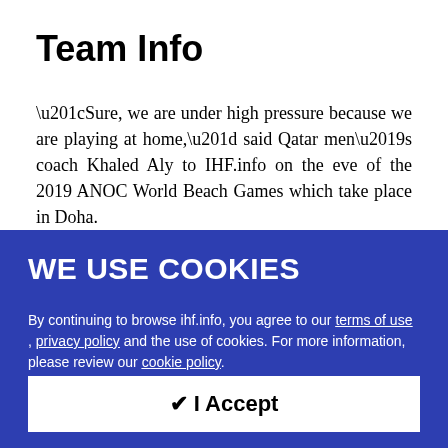Team Info
“Sure, we are under high pressure because we are playing at home,” said Qatar men’s coach Khaled Aly to IHF.info on the eve of the 2019 ANOC World Beach Games which take place in Doha.
That Aly is happy to not shy away from the fact that
WE USE COOKIES
By continuing to browse ihf.info, you agree to our terms of use , privacy policy and the use of cookies. For more information, please review our cookie policy.
✔ I Accept